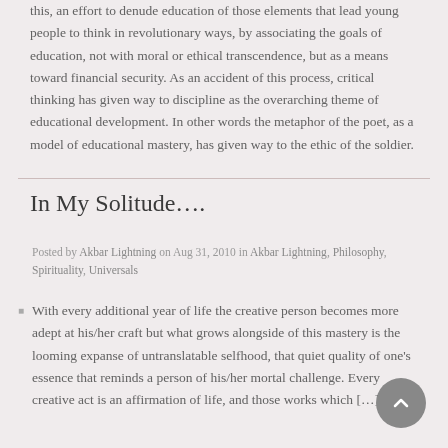this, an effort to denude education of those elements that lead young people to think in revolutionary ways, by associating the goals of education, not with moral or ethical transcendence, but as a means toward financial security. As an accident of this process, critical thinking has given way to discipline as the overarching theme of educational development. In other words the metaphor of the poet, as a model of educational mastery, has given way to the ethic of the soldier.
In My Solitude….
Posted by Akbar Lightning on Aug 31, 2010 in Akbar Lightning, Philosophy, Spirituality, Universals
With every additional year of life the creative person becomes more adept at his/her craft but what grows alongside of this mastery is the looming expanse of untranslatable selfhood, that quiet quality of one's essence that reminds a person of his/her mortal challenge. Every creative act is an affirmation of life, and those works which […]